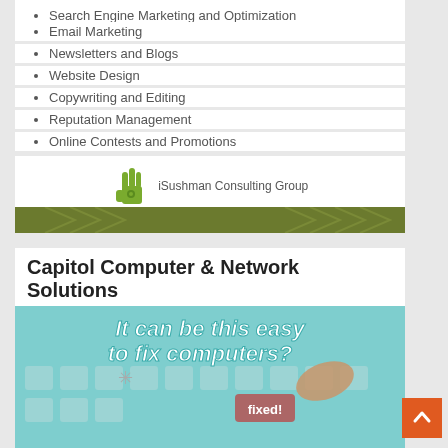Search Engine Marketing and Optimization
Email Marketing
Newsletters and Blogs
Website Design
Copywriting and Editing
Reputation Management
Online Contests and Promotions
[Figure (logo): iSushman Consulting Group logo with green hand icon and text]
Capitol Computer & Network Solutions
[Figure (photo): Photo of keyboard with red key labeled 'fixed!' and text overlay 'It can be this easy to fix computers?']